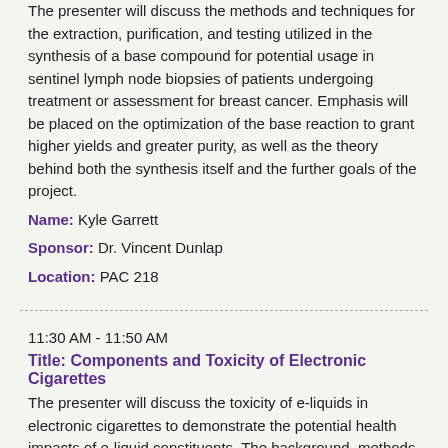The presenter will discuss the methods and techniques for the extraction, purification, and testing utilized in the synthesis of a base compound for potential usage in sentinel lymph node biopsies of patients undergoing treatment or assessment for breast cancer. Emphasis will be placed on the optimization of the base reaction to grant higher yields and greater purity, as well as the theory behind both the synthesis itself and the further goals of the project.
Name: Kyle Garrett
Sponsor: Dr. Vincent Dunlap
Location: PAC 218
11:30 AM - 11:50 AM
Title: Components and Toxicity of Electronic Cigarettes
The presenter will discuss the toxicity of e-liquids in electronic cigarettes to demonstrate the potential health impacts of e-liquid constituents. The background, methods, analysis, and impact will be provided.
Name: Brooke Boatman
Sponsor: Dr. Vincent Dunlap